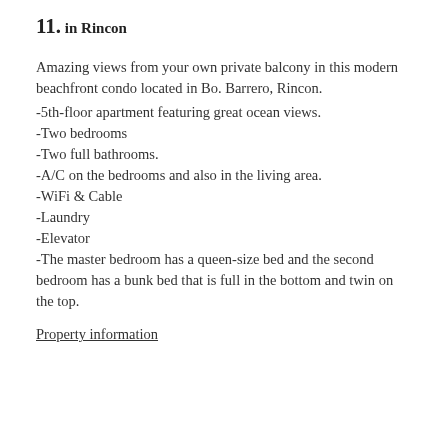11.
in Rincon
Amazing views from your own private balcony in this modern beachfront condo located in Bo. Barrero, Rincon.
-5th-floor apartment featuring great ocean views.
-Two bedrooms
-Two full bathrooms.
-A/C on the bedrooms and also in the living area.
-WiFi & Cable
-Laundry
-Elevator
-The master bedroom has a queen-size bed and the second bedroom has a bunk bed that is full in the bottom and twin on the top.
Property information